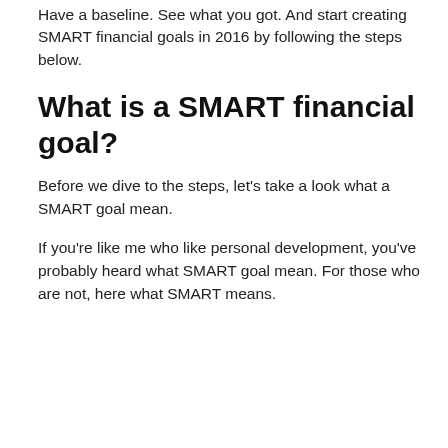Have a baseline. See what you got. And start creating SMART financial goals in 2016 by following the steps below.
What is a SMART financial goal?
Before we dive to the steps, let's take a look what a SMART goal mean.
If you're like me who like personal development, you've probably heard what SMART goal mean. For those who are not, here what SMART means.